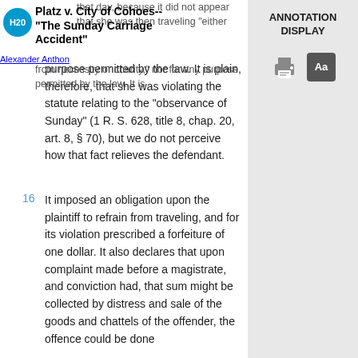Platz v. City of Cohoes--"The Sunday Carriage Accident"
Alexander Anthon
that day, because it did not appear that she was then traveling "either from necessity or charity," nor for any purpose permitted by the law. It is plain, therefore, that she was violating the statute relating to the "observance of Sunday" (1 R. S. 628, title 8, chap. 20, art. 8, § 70), but we do not perceive how that fact relieves the defendant.
16 It imposed an obligation upon the plaintiff to refrain from traveling, and for its violation prescribed a forfeiture of one dollar. It also declares that upon complaint made before a magistrate, and conviction had, that sum might be collected by distress and sale of the goods and chattels of the offender, the offence could be done
ANNOTATION DISPLAY